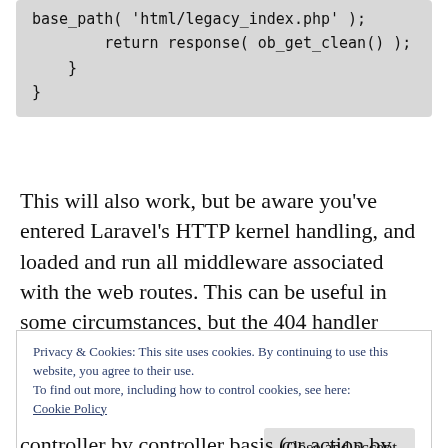base_path( 'html/legacy_index.php' );
        return response( ob_get_clean() );
    }
}
This will also work, but be aware you've entered Laravel's HTTP kernel handling, and loaded and run all middleware associated with the web routes. This can be useful in some circumstances, but the 404 handler method will generally be more efficient.
Privacy & Cookies: This site uses cookies. By continuing to use this website, you agree to their use.
To find out more, including how to control cookies, see here:
Cookie Policy
Close and accept
controller by controller basis (or action by